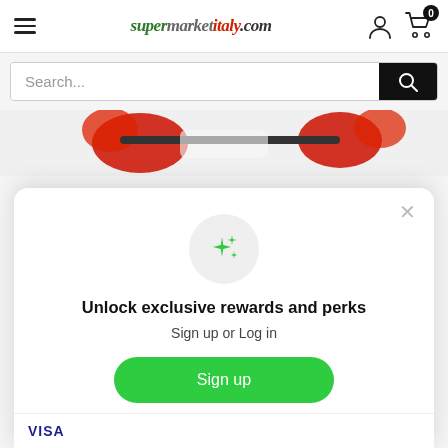supermarketitaly.com
Search...
[Figure (illustration): Partial image of red illustrated characters/mascots on light background - cropped, partially visible behind modal]
[Figure (infographic): Modal popup with sparkle icon, heading 'Unlock exclusive rewards and perks', subtext 'Sign up or Log in', green Sign up button, and 'Already have an account? Sign in' link]
Unlock exclusive rewards and perks
Sign up or Log in
Sign up
Already have an account? Sign in
VISA